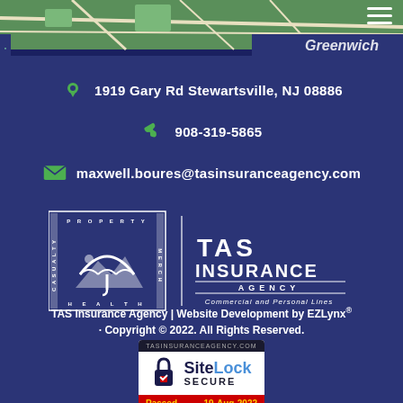[Figure (map): Map background image showing street map with Greenwich label visible]
1919 Gary Rd Stewartsville, NJ 08886
908-319-5865
maxwell.boures@tasinsuranceagency.com
[Figure (logo): TAS Insurance Agency logo with umbrella icon and text: TAS INSURANCE AGENCY Commercial and Personal Lines]
TAS Insurance Agency | Website Development by EZLynx® · Copyright © 2022. All Rights Reserved.
[Figure (other): SiteLock Secure badge showing TASINSURANCEAGENCY.COM, Passed 19-Aug-2022]